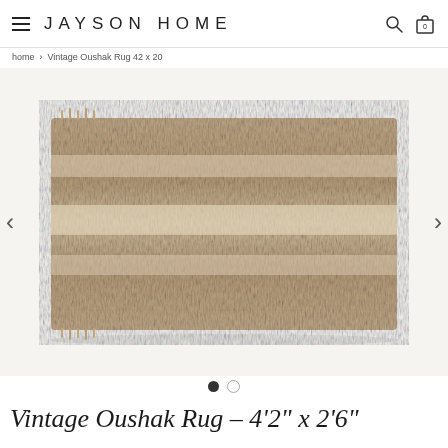JAYSON HOME
home > Vintage Oushak Rug 42 x 20
[Figure (photo): A vintage Oushak rug photographed on a white background. The rug has a worn, washed-out appearance with horizontal banding in beige and tan tones, showing age and patina. The rug has fringed edges.]
Vintage Oushak Rug – 4'2" x 2'6"